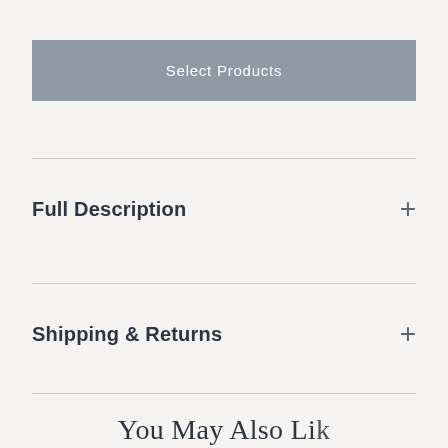Select Products
Full Description
Shipping & Returns
You May Also Li…